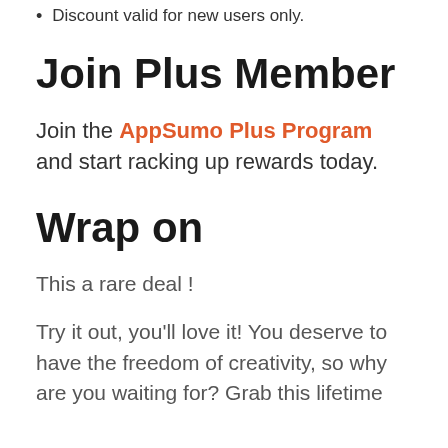Discount valid for new users only.
Join Plus Member
Join the AppSumo Plus Program and start racking up rewards today.
Wrap on
This a rare deal !
Try it out, you'll love it! You deserve to have the freedom of creativity, so why are you waiting for? Grab this lifetime